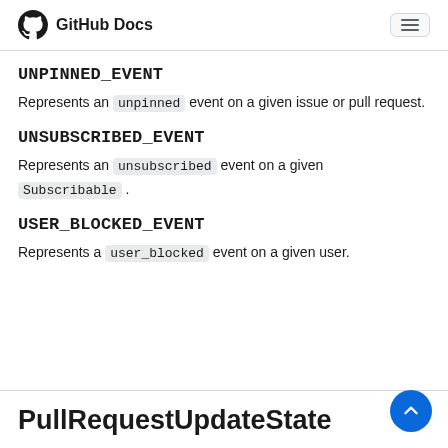GitHub Docs
UNPINNED_EVENT
Represents an unpinned event on a given issue or pull request.
UNSUBSCRIBED_EVENT
Represents an unsubscribed event on a given Subscribable .
USER_BLOCKED_EVENT
Represents a user_blocked event on a given user.
PullRequestUpdateState